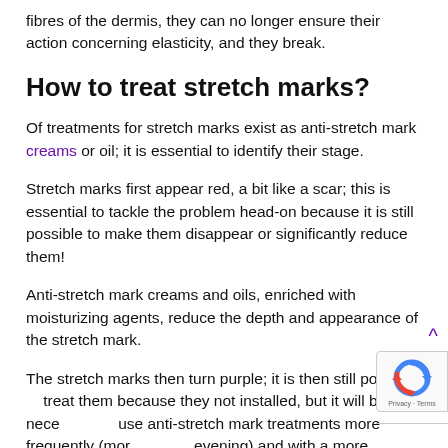fibres of the dermis, they can no longer ensure their action concerning elasticity, and they break.
How to treat stretch marks?
Of treatments for stretch marks exist as anti-stretch mark creams or oil; it is essential to identify their stage.
Stretch marks first appear red, a bit like a scar; this is essential to tackle the problem head-on because it is still possible to make them disappear or significantly reduce them!
Anti-stretch mark creams and oils, enriched with moisturizing agents, reduce the depth and appearance of the stretch mark.
The stretch marks then turn purple; it is then still possible to treat them because they not installed, but it will be necessary to use anti-stretch mark treatments more frequently (morning and evening) and with a more prosperous composition.